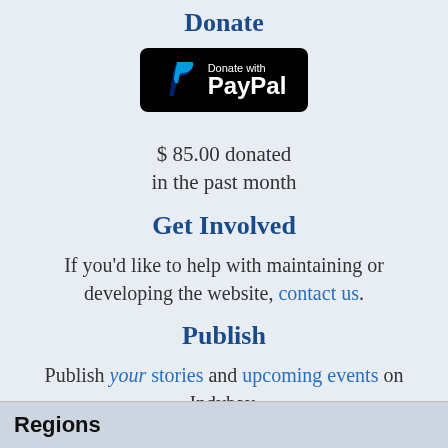Donate
[Figure (logo): Donate with PayPal button — black rounded rectangle with PayPal logo (blue P) and white text 'Donate with PayPal']
$ 85.00 donated in the past month
Get Involved
If you'd like to help with maintaining or developing the website, contact us.
Publish
Publish your stories and upcoming events on Indybay.
Regions